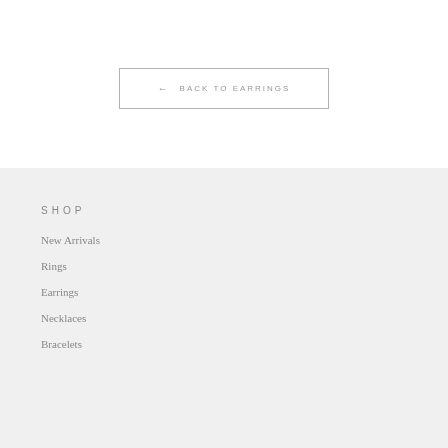← BACK TO EARRINGS
SHOP
New Arrivals
Rings
Earrings
Necklaces
Bracelets